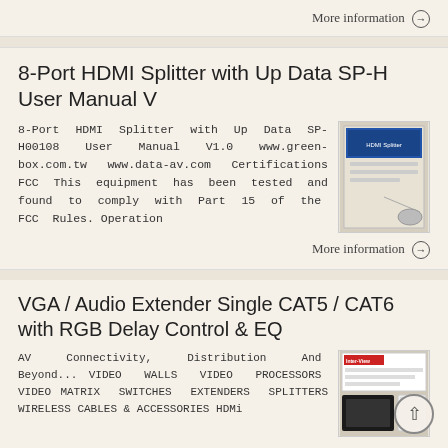More information →
8-Port HDMI Splitter with Up Data SP-H User Manual V
8-Port HDMI Splitter with Up Data SP-H00108 User Manual V1.0 www.green-box.com.tw www.data-av.com Certifications FCC This equipment has been tested and found to comply with Part 15 of the FCC Rules. Operation
[Figure (photo): Thumbnail image of an HDMI splitter user manual document cover]
More information →
VGA / Audio Extender Single CAT5 / CAT6 with RGB Delay Control & EQ
AV Connectivity, Distribution And Beyond... VIDEO WALLS VIDEO PROCESSORS VIDEO MATRIX SWITCHES EXTENDERS SPLITTERS WIRELESS CABLES & ACCESSORIES HDMi
[Figure (photo): Thumbnail image of VGA/Audio Extender product box]